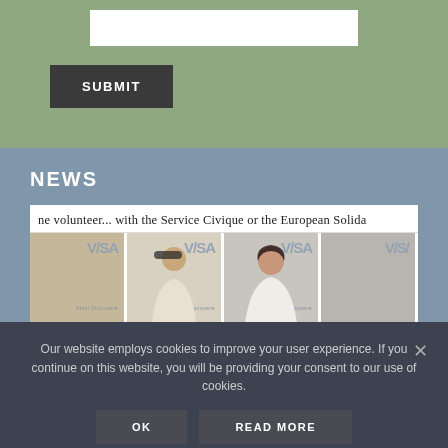[Figure (screenshot): White input bar on green background section]
SUBMIT
NEWS
[Figure (photo): News card with text 'ne volunteer... with the Service Civique or the European Solida' and four VISA-branded portrait photos below]
Our website employs cookies to improve your user experience. If you continue on this website, you will be providing your consent to our use of cookies.
OK
READ MORE